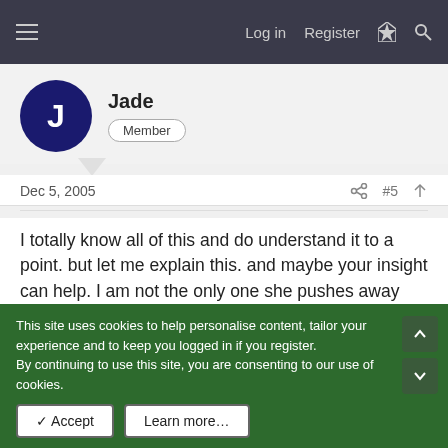Log in  Register
Jade
Member
Dec 5, 2005  #5
I totally know all of this and do understand it to a point. but let me explain this. and maybe your insight can help. I am not the only one she pushes away from time to time. She relizes she pushes people away and even told me that when we first met. She is a needy person, told me that too an d I came to see, hates to be alone, I saw that too. She has emotional issues. I have never had any one in my life with sistuiations as hers.
This site uses cookies to help personalise content, tailor your experience and to keep you logged in if you register.
By continuing to use this site, you are consenting to our use of cookies.